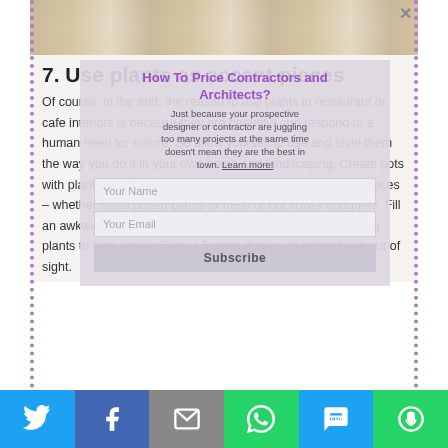[Figure (photo): Top photo of restaurant/cafe table setting with plates and tableware]
[Figure (screenshot): Modal popup overlay: 'How To Price Contractors and Architects?' with subtitle text about prospective designers, name/email input fields, and Subscribe button]
7. Use plants as accent pieces
Of course, in the end, the reason to use plants in restaurant or cafe interiors is because they are beautiful and respond to a human need for nature. So allow yourself to use and style them the way you do it in your own home and landscaping. Create pots with plants of different heights, and include some tabletop pieces – whether small potted plants or fresh or dry flower bouquets. Fill an awkward spot with a large container or use tall or climbing plants to hide ugly walls or a feature that you'd rather have out of sight.
[Figure (infographic): Bottom social sharing bar with Twitter, Facebook, Email, WhatsApp, SMS, and More icons]